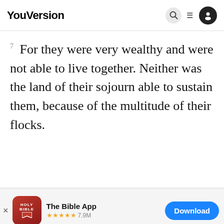YouVersion
7 For they were very wealthy and were not able to live together. Neither was the land of their sojourn able to sustain them, because of the multitude of their flocks.
[Figure (screenshot): App store banner for The Bible App with red Holy Bible icon, 5-star rating 7.9M reviews, and blue Download button]
father o
10 an
YouVersion uses cookies to personalize your experience. By using our website, you accept our use of cookies as described in our Privacy Policy.
Home  Bible  Plans  Videos